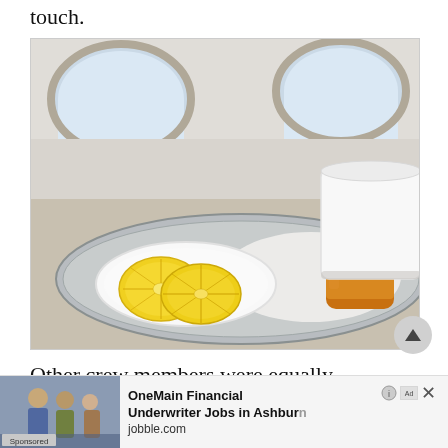touch.
[Figure (photo): A silver tray on an airplane tray table with two round lemon slices on a white plate, a small jar of honey, and a large white ceramic mug. Two oval airplane windows are visible in the background.]
Other crew members were equally courteous and the purser came around just after takeoff to offer his
[Figure (screenshot): Advertisement banner: OneMain Financial - Underwriter Jobs in Ashburn - jobble.com. Shows a sponsored label and an image of people in business attire. Has close (X) button and ad choice icons.]